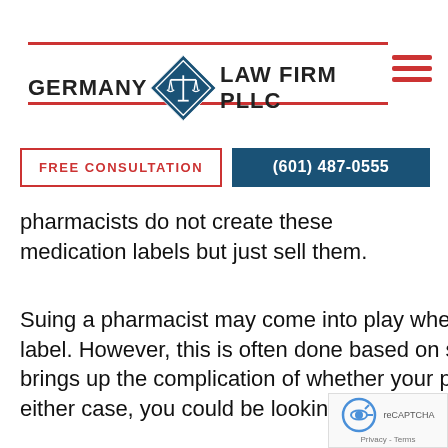[Figure (logo): Germany Law Firm PLLC logo with blue diamond containing scales of justice, flanked by firm name text with red horizontal lines]
FREE CONSULTATION
(601) 487-0555
pharmacists do not create these medication labels but just sell them.
Suing a pharmacist may come into play when your pharmacist created the medication label. However, this is often done based on specific instructions from your doctor. This brings up the complication of whether your pharmacist made the error or your doctor. In either case, you could be looking at filing a medical malpractice c